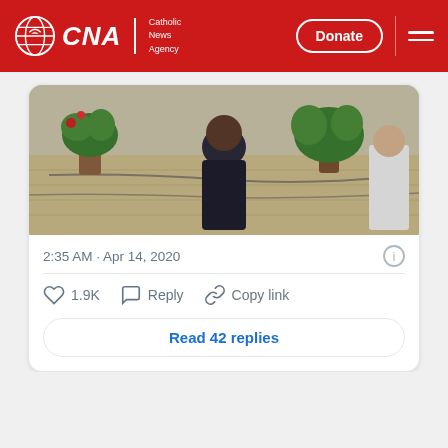CNA Catholic News Agency — Donate
[Figure (screenshot): A screenshot of a tweet embedded in a CNA article, showing the back of a man in a dark suit at an outdoor event with plants and cables visible. The tweet is timestamped 2:35 AM · Apr 14, 2020, with 1.9K likes, Reply, and Copy link actions, and a 'Read 42 replies' button.]